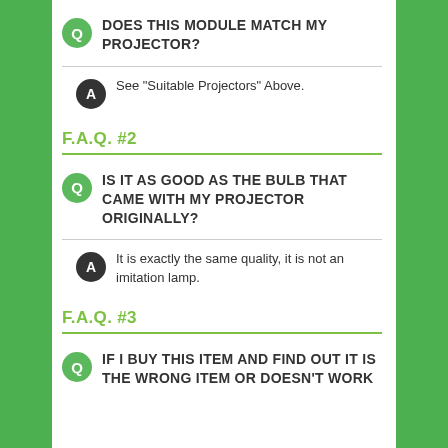Q: DOES THIS MODULE MATCH MY PROJECTOR?
A: See "Suitable Projectors" Above.
F.A.Q. #2
Q: IS IT AS GOOD AS THE BULB THAT CAME WITH MY PROJECTOR ORIGINALLY?
A: It is exactly the same quality, it is not an imitation lamp.
F.A.Q. #3
Q: IF I BUY THIS ITEM AND FIND OUT IT IS THE WRONG ITEM OR DOESN'T WORK